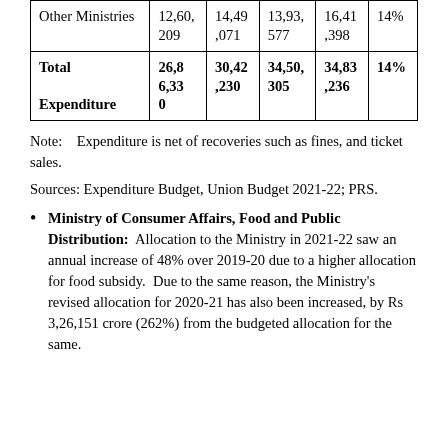| Other Ministries | 12,60,209 | 14,49,071 | 13,93,577 | 16,41,398 | 14% |
| Total Expenditure | 26,86,330 | 30,42,230 | 34,50,305 | 34,83,236 | 14% |
Note:   Expenditure is net of recoveries such as fines, and ticket sales.
Sources: Expenditure Budget, Union Budget 2021-22; PRS.
Ministry of Consumer Affairs, Food and Public Distribution:  Allocation to the Ministry in 2021-22 saw an annual increase of 48% over 2019-20 due to a higher allocation for food subsidy.  Due to the same reason, the Ministry's revised allocation for 2020-21 has also been increased, by Rs 3,26,151 crore (262%) from the budgeted allocation for the same.